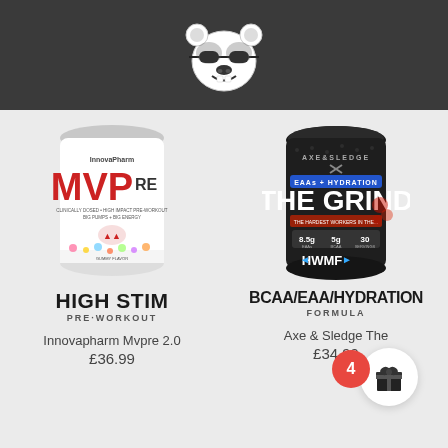[Figure (logo): White bear/panda head logo with sunglasses on dark grey background]
[Figure (photo): InnovaPharm MVPre supplement container - white tub with red MVP branding]
HIGH STIM
PRE-WORKOUT
Innovapharm Mvpre 2.0
£36.99
[Figure (photo): Axe & Sledge The Grind supplement container - dark tub with red and blue branding, EAAs + Hydration formula]
BCAA/EAA/HYDRATION
FORMULA
Axe & Sledge The
£34.99